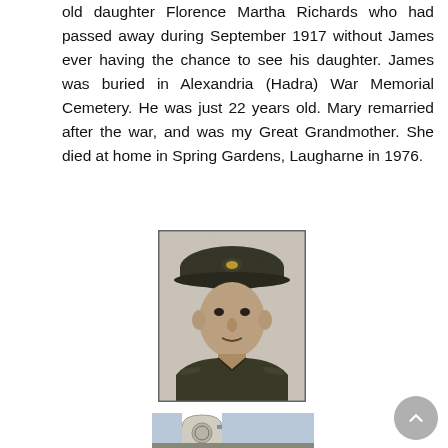old daughter Florence Martha Richards who had passed away during September 1917 without James ever having the chance to see his daughter. James was buried in Alexandria (Hadra) War Memorial Cemetery. He was just 22 years old. Mary remarried after the war, and was my Great Grandmother. She died at home in Spring Gardens, Laugharne in 1976.
[Figure (photo): Black and white portrait photograph of a young World War I soldier wearing a military cap and uniform.]
[Figure (photo): Partial view of a white Commonwealth War Graves Commission headstone with a cross visible behind it.]